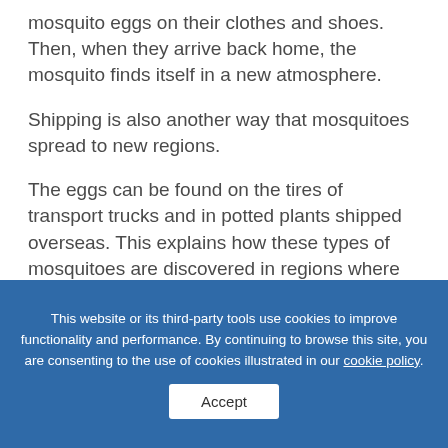mosquito eggs on their clothes and shoes. Then, when they arrive back home, the mosquito finds itself in a new atmosphere.
Shipping is also another way that mosquitoes spread to new regions.
The eggs can be found on the tires of transport trucks and in potted plants shipped overseas. This explains how these types of mosquitoes are discovered in regions where they weren't before. These species can thrive in almost any environment and have been seen in most areas around the
This website or its third-party tools use cookies to improve functionality and performance. By continuing to browse this site, you are consenting to the use of cookies illustrated in our cookie policy.